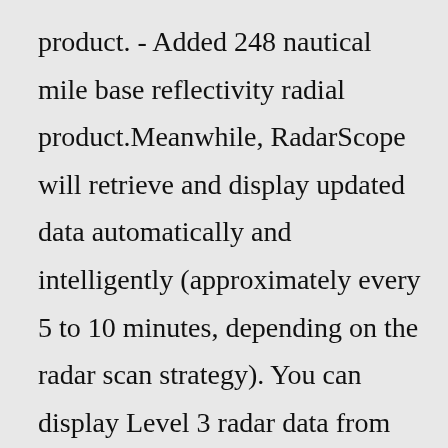product. - Added 248 nautical mile base reflectivity radial product.Meanwhile, RadarScope will retrieve and display updated data automatically and intelligently (approximately every 5 to 10 minutes, depending on the radar scan strategy). You can display Level 3 radar data from NOAA's public access web site or use your Allison House subscriber account for radar data (recommended). May 19, 2022 ·